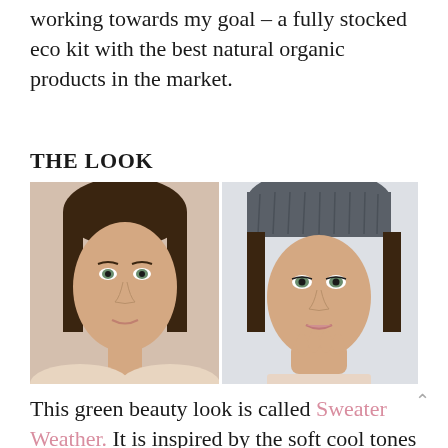working towards my goal – a fully stocked eco kit with the best natural organic products in the market.
THE LOOK
[Figure (photo): Side-by-side before and after photos of a young woman: left photo shows her with no makeup, natural look; right photo shows her wearing a grey knit beanie hat with soft makeup, hand resting under chin.]
This green beauty look is called Sweater Weather. It is inspired by the soft cool tones of winter, when snow